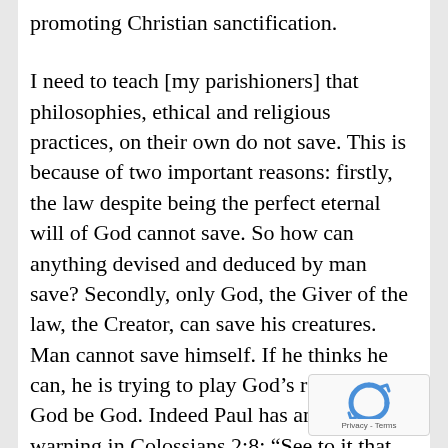promoting Christian sanctification.
I need to teach [my parishioners] that philosophies, ethical and religious practices, on their own do not save. This is because of two important reasons: firstly, the law despite being the perfect eternal will of God cannot save. So how can anything devised and deduced by man save? Secondly, only God, the Giver of the law, the Creator, can save his creatures. Man cannot save himself. If he thinks he can, he is trying to play God’s role. So let God be God. Indeed Paul has an apt warning in Colossians 2:8: “See to it that no one takes you captive through hollow and deceptive philosophy.” Luther in his commentary on Galatians noted that “Ther...